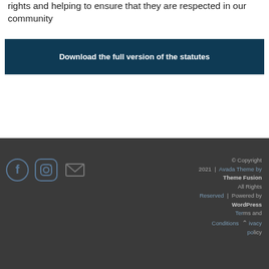rights and helping to ensure that they are respected in our community
Download the full version of the statutes
© Copyright 2021 | Avada Theme by Theme Fusion All Rights Reserved | Powered by WordPress Terms and Conditions Privacy policy